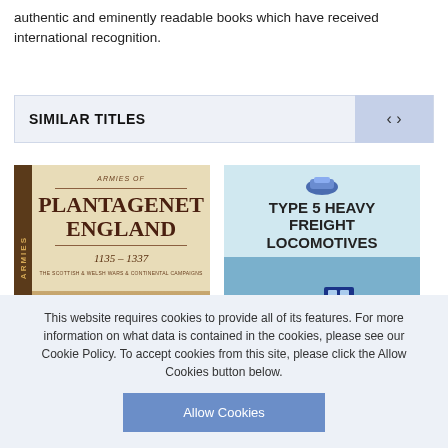authentic and eminently readable books which have received international recognition.
SIMILAR TITLES
[Figure (photo): Book cover: Armies of Plantagenet England 1135-1337, The Scottish & Welsh Wars & Continental Campaigns]
[Figure (photo): Book cover: Type 5 Heavy Freight Locomotives, showing a blue and orange locomotive pulling freight cars]
This website requires cookies to provide all of its features. For more information on what data is contained in the cookies, please see our Cookie Policy. To accept cookies from this site, please click the Allow Cookies button below.